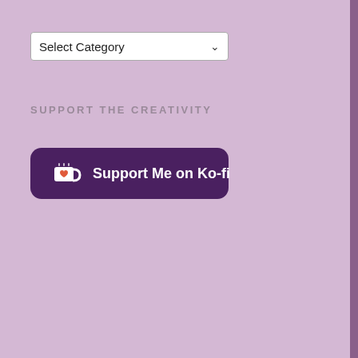[Figure (screenshot): A dropdown select box with the label 'Select Category' and a chevron arrow on the right side]
SUPPORT THE CREATIVITY
[Figure (illustration): A dark purple button with a Ko-fi cup icon on the left and the text 'Support Me on Ko-fi' in white]